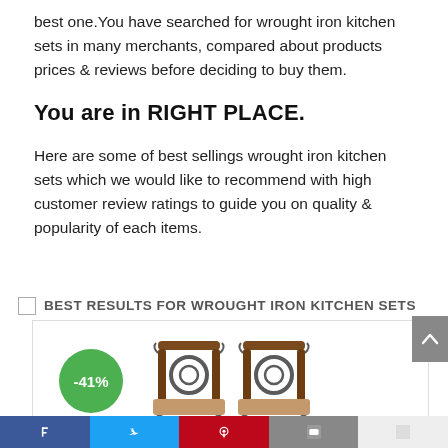best one.You have searched for wrought iron kitchen sets in many merchants, compared about products prices & reviews before deciding to buy them.
You are in RIGHT PLACE.
Here are some of best sellings wrought iron kitchen sets which we would like to recommend with high customer review ratings to guide you on quality & popularity of each items.
BEST RESULTS FOR WROUGHT IRON KITCHEN SETS
[Figure (photo): Product image of two wrought iron kitchen chairs with cushioned seats and decorative metal backs, with a green circular -41% discount badge on the left]
[Figure (other): Social media sharing bar at the bottom with Facebook, Twitter, Pinterest, and other icons]